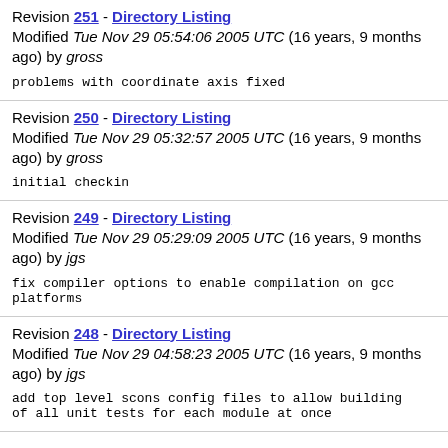Revision 251 - Directory Listing
Modified Tue Nov 29 05:54:06 2005 UTC (16 years, 9 months ago) by gross
problems with coordinate axis fixed
Revision 250 - Directory Listing
Modified Tue Nov 29 05:32:57 2005 UTC (16 years, 9 months ago) by gross
initial checkin
Revision 249 - Directory Listing
Modified Tue Nov 29 05:29:09 2005 UTC (16 years, 9 months ago) by jgs
fix compiler options to enable compilation on gcc platforms
Revision 248 - Directory Listing
Modified Tue Nov 29 04:58:23 2005 UTC (16 years, 9 months ago) by jgs
add top level scons config files to allow building of all unit tests for each module at once